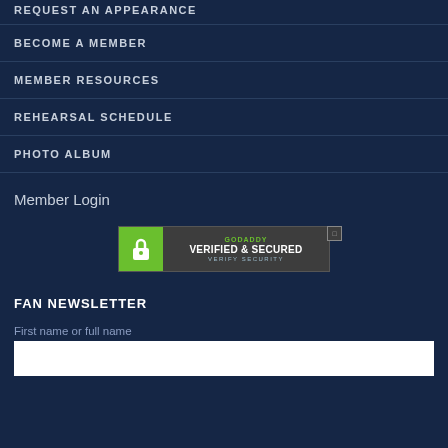REQUEST AN APPEARANCE
BECOME A MEMBER
MEMBER RESOURCES
REHEARSAL SCHEDULE
PHOTO ALBUM
Member Login
[Figure (logo): GoDaddy Verified & Secured badge with green lock icon]
FAN NEWSLETTER
First name or full name